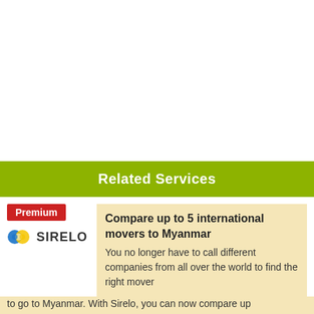Related Services
[Figure (logo): Sirelo logo with colored circles and SIRELO text, with a red Premium badge above it]
Compare up to 5 international movers to Myanmar
You no longer have to call different companies from all over the world to find the right mover to go to Myanmar. With Sirelo, you can now compare up